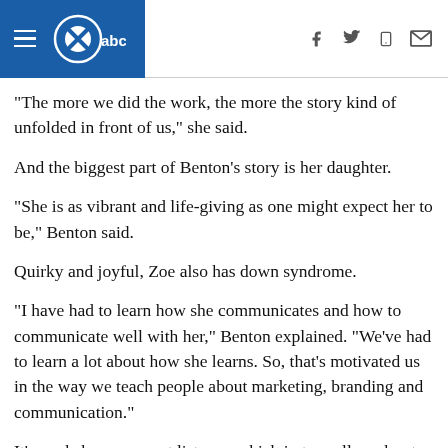KSAT ABC logo with hamburger menu and social icons (Facebook, Twitter, mobile, email)
"The more we did the work, the more the story kind of unfolded in front of us," she said.
And the biggest part of Benton’s story is her daughter.
"She is as vibrant and life-giving as one might expect her to be," Benton said.
Quirky and joyful, Zoe also has down syndrome.
"I have had to learn how she communicates and how to communicate well with her," Benton explained. "We've had to learn a lot about how she learns. So, that's motivated us in the way we teach people about marketing, branding and communication."
It’s made her an expert listener, which in turn allows her to get the root of any organization, and thus their core values.
"That messaging is going to be different for every single